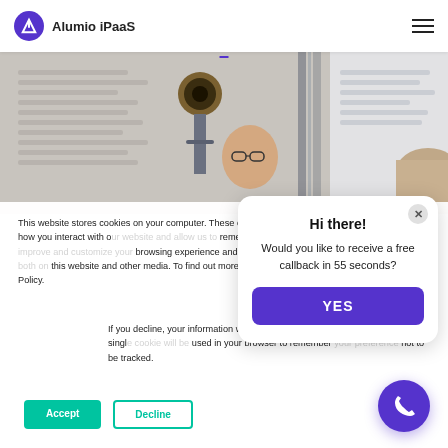Alumio iPaaS
[Figure (photo): Partial banner photo showing a person with glasses looking at camera, with bokeh background and office environment]
This website stores cookies on your computer. These cookies are used to collect information about how you interact with our website and allow us to remember you. We use this information in order to improve and customize your browsing experience and for analytics and metrics about our visitors both on this website and other media. To find out more about the cookies we use, see our Privacy Policy.
If you decline, your information won't be tracked when you visit this website. A single cookie will be used in your browser to remember your preference not to be tracked.
Accept
Decline
Hi there!
Would you like to receive a free callback in 55 seconds?
YES